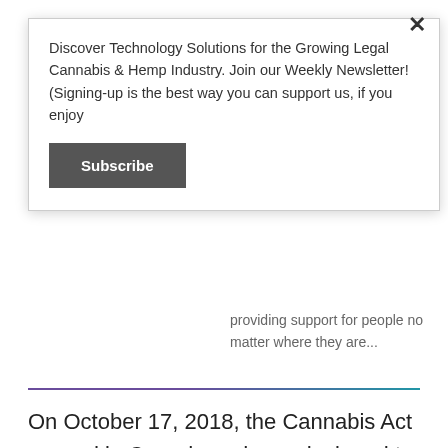Discover Technology Solutions for the Growing Legal Cannabis & Hemp Industry. Join our Weekly Newsletter! (Signing-up is the best way you can support us, if you enjoy
Subscribe
providing support for people no matter where they are...
On October 17, 2018, the Cannabis Act passed in Canada and was designed to create a strict legal framework for controlling the production, distribution, sale, and possession of cannabis across the country. The Act aims to accomplish three goals: to keep marijuana out of th e hands of youth, to keep profits out of the pockets of criminals, and to protect public